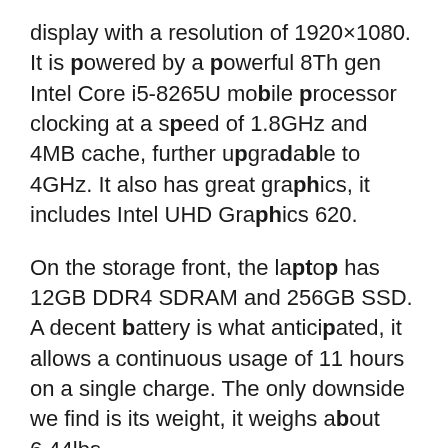display with a resolution of 1920×1080. It is powered by a powerful 8Th gen Intel Core i5-8265U mobile processor clocking at a speed of 1.8GHz and 4MB cache, further upgradable to 4GHz. It also has great graphics, it includes Intel UHD Graphics 620.
On the storage front, the laptop has 12GB DDR4 SDRAM and 256GB SSD. A decent battery is what anticipated, it allows a continuous usage of 11 hours on a single charge. The only downside we find is its weight, it weighs about 6.44lbs.
Additionally, it has a backlit keyboard, Fingerprint reader, an active stylus pen, a 10-point multi-touch, and lots of connectivity options including Thunderbolt 3, and more. Finally, it runs on Windows 10 Home 64 bit. If you're a fashion designer on the